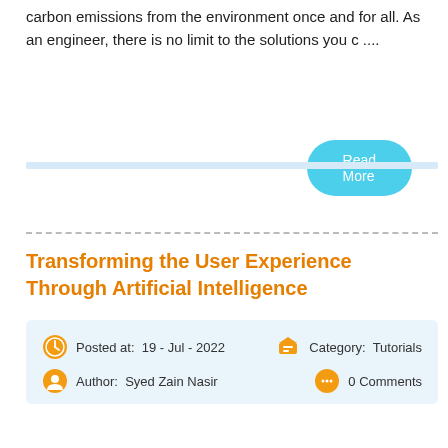carbon emissions from the environment once and for all. As an engineer, there is no limit to the solutions you c ....
Read More
Transforming the User Experience Through Artificial Intelligence
Posted at:  19 - Jul - 2022   Category:  Tutorials   Author:  Syed Zain Nasir   0 Comments